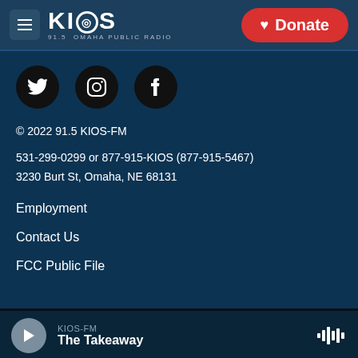KIOS 91.5 OMAHA PUBLIC RADIO
[Figure (logo): KIOS logo with hamburger menu and Donate button]
[Figure (infographic): Social media icons: Twitter, Instagram, Facebook]
© 2022 91.5 KIOS-FM
531-299-0299 or 877-915-KIOS (877-915-5467)
3230 Burt St, Omaha, NE 68131
Employment
Contact Us
FCC Public File
KIOS-FM The Takeaway